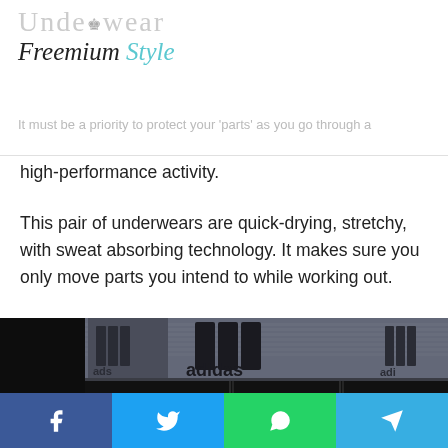Underwear — Freemium Style
It must be a priority to protect your 'parts' as you go through a high-performance activity.
This pair of underwears are quick-drying, stretchy, with sweat absorbing technology. It makes sure you only move parts you intend to while working out.
[Figure (photo): Close-up photo of black Adidas underwear/boxer briefs showing the gray waistband with the Adidas logo and three stripes, and black fabric below with stitching details.]
Social share buttons: Facebook, Twitter, WhatsApp, Telegram